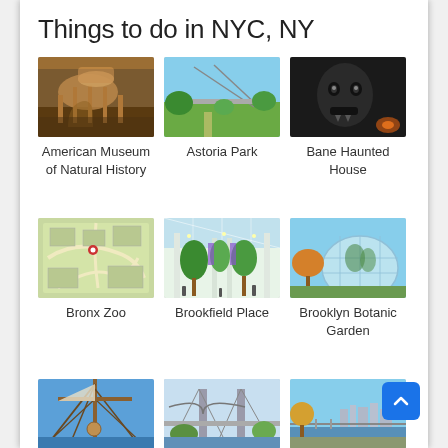Things to do in NYC, NY
[Figure (photo): American Museum of Natural History - dinosaur skeleton exhibit]
American Museum of Natural History
[Figure (photo): Astoria Park - bridge and green lawn]
Astoria Park
[Figure (photo): Bane Haunted House - dark spooky character]
Bane Haunted House
[Figure (photo): Bronx Zoo - aerial map view]
Bronx Zoo
[Figure (photo): Brookfield Place - interior atrium with trees]
Brookfield Place
[Figure (photo): Brooklyn Botanic Garden - glass greenhouse exterior]
Brooklyn Botanic Garden
[Figure (photo): Brooklyn - sailing ship rigging]
Brooklyn
[Figure (photo): Brooklyn - bridge and waterfront]
Brooklyn
[Figure (photo): Brooklyn - waterfront park promenade]
Brooklyn